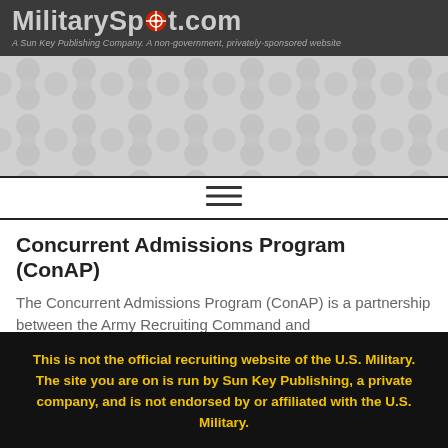MilitarySpot.com — A Sun Key Publishing Company. A non-government, privately-sponsored website
[Figure (other): Banner advertisement area with grey geometric/dot pattern background]
[Figure (other): Hamburger menu navigation icon (three horizontal lines)]
Concurrent Admissions Program (ConAP)
The Concurrent Admissions Program (ConAP) is a partnership between the Army Recruiting Command and
This is not the official recruiting website of the U.S. Military. The site you are on is run by Sun Key Publishing, a private company, and is not endorsed by or affiliated with the U.S. Military.